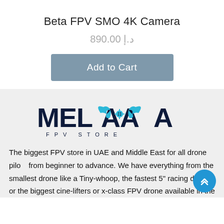Beta FPV SMO 4K Camera
د.إ 890.00
Add to Cart
[Figure (logo): Melaawa FPV Store logo with stylized wing and drone icon]
The biggest FPV store in UAE and Middle East for all drone pilots from beginner to advance. We have everything from the smallest drone like a Tiny-whoop, the fastest 5" racing drone or the biggest cine-lifters or x-class FPV drone available in the